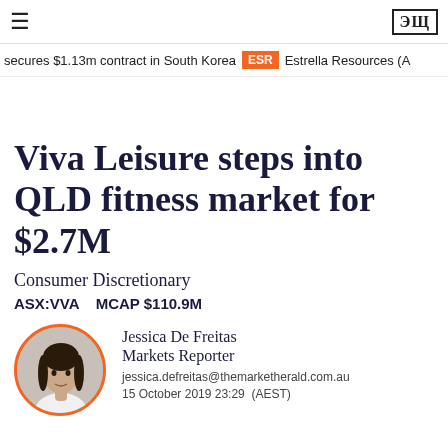≡  ЭЩ
secures $1.13m contract in South Korea  ESR  Estrella Resources (A
Viva Leisure steps into QLD fitness market for $2.7M
Consumer Discretionary
ASX:VVA   MCAP $110.9M
Jessica De Freitas
Markets Reporter
jessica.defreitas@themarketherald.com.au
15 October 2019 23:29  (AEST)